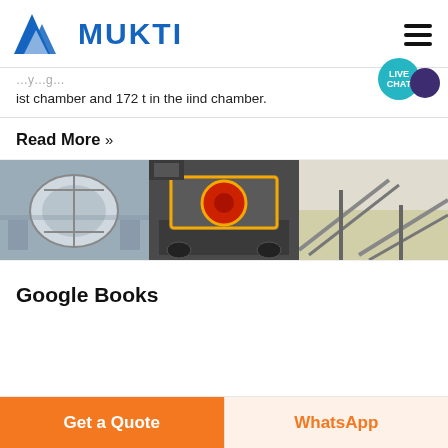MUKTI
ist chamber and 172 t in the iind chamber.
Read More »
[Figure (photo): Three industrial mining/crushing machines: a large cylindrical drum/ball mill on the left, a mobile jaw crusher with orange-highlighted mechanism in the center, and a conveyor belt system on the right.]
Google Books
Get a Quote
WhatsApp